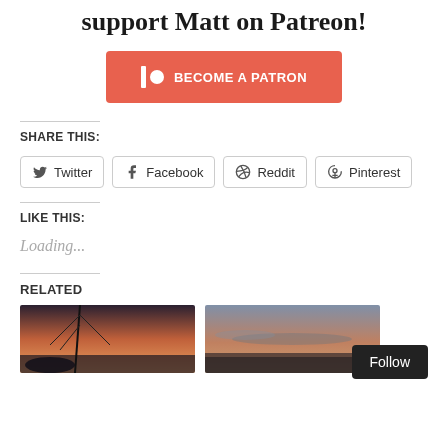support Matt on Patreon!
[Figure (other): Patreon 'Become a Patron' button — orange/salmon rectangle with Patreon logo (vertical bar and circle) and text 'BECOME A PATRON' in white bold]
SHARE THIS:
[Figure (other): Social share buttons: Twitter, Facebook, Reddit, Pinterest — each with icon and label, white background with rounded border]
LIKE THIS:
Loading...
RELATED
[Figure (photo): Two related post thumbnail photos: left shows a silhouette of mast/rigging against an orange-pink sunset sky; right shows a coastal/harbor sunset scene]